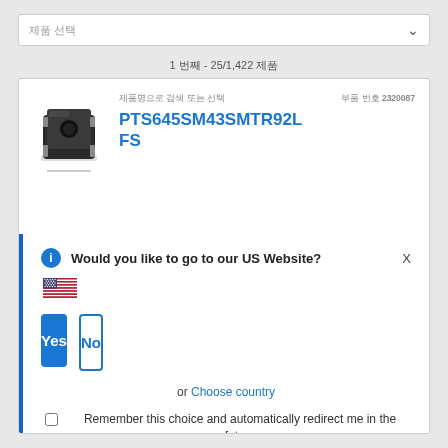제품 선택
1 번째 - 25/1,422 제품
[Figure (photo): Tactile push button switch component (black, SMD), top-down view]
제품명으로 검색 또는 선택
부품 번호 2320087
PTS645SM43SMTR92LFS
Would you like to go to our US Website?
Yes
No
or Choose country
Remember this choice and automatically redirect me in the future